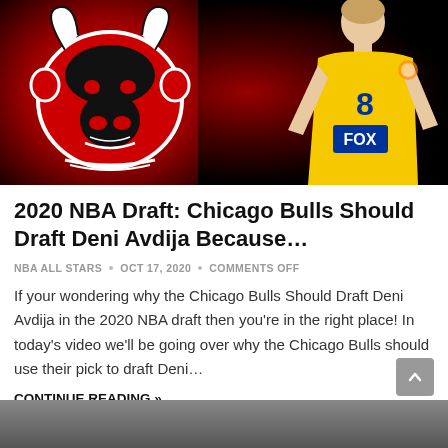[Figure (photo): Chicago Bulls logo on red background on the left, basketball player wearing yellow jersey number 8 with FOX sponsor on right, both on black background with red glow]
2020 NBA Draft: Chicago Bulls Should Draft Deni Avdija Because...
NBA ALL STARS • OCT 17, 2020 • COMMENTS OFF
If your wondering why the Chicago Bulls Should Draft Deni Avdija in the 2020 NBA draft then you're in the right place! In today's video we'll be going over why the Chicago Bulls should use their pick to draft Deni…
CONTINUE READING »